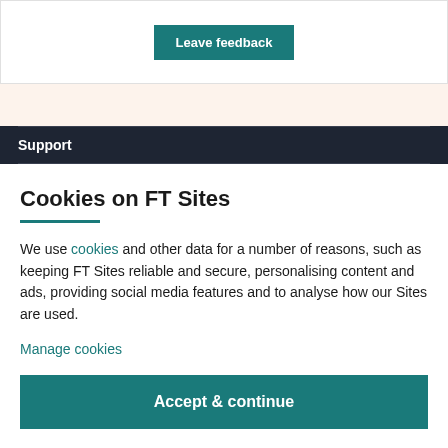[Figure (screenshot): Leave feedback button - teal colored button with white bold text]
Support
Cookies on FT Sites
We use cookies and other data for a number of reasons, such as keeping FT Sites reliable and secure, personalising content and ads, providing social media features and to analyse how our Sites are used.
Manage cookies
Accept & continue